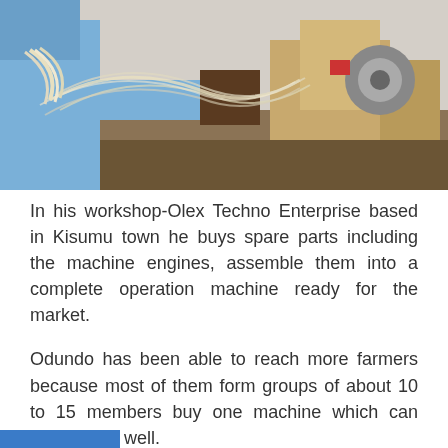[Figure (photo): A person in a blue shirt working with fibrous plant material (sisal or similar) near a machine with cardboard boxes in the background. Workshop setting.]
In his workshop-Olex Techno Enterprise based in Kisumu town he buys spare parts including the machine engines, assemble them into a complete operation machine ready for the market.
Odundo has been able to reach more farmers because most of them form groups of about 10 to 15 members buy one machine which can serve them well.
“One machine can serve about ten families in a given area so interested farmers form groups and buy one machine which they can share among themselves,” he said